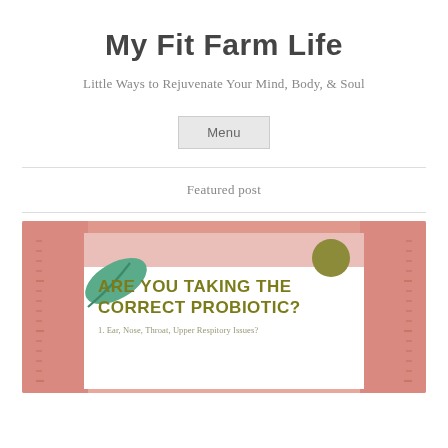My Fit Farm Life
Little Ways to Rejuvenate Your Mind, Body, & Soul
Menu
Featured post
[Figure (illustration): Decorative blog post thumbnail image with pink background, white inner card, teal leaf illustration, olive circle, grid pattern side panels, bold olive-colored uppercase text reading 'ARE YOU TAKING THE CORRECT PROBIOTIC?' and subtitle text '1. Ear, Nose, Throat, Upper Respitory Issues?']